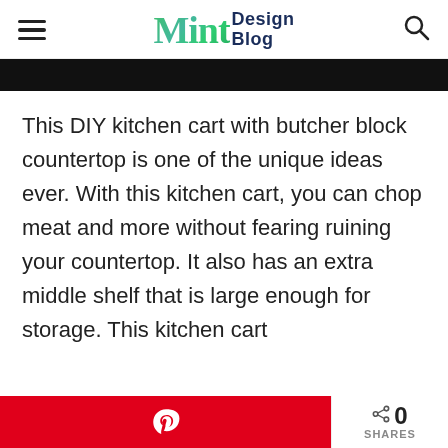Mint Design Blog
[Figure (photo): Black bar / cropped photo at top of article]
This DIY kitchen cart with butcher block countertop is one of the unique ideas ever. With this kitchen cart, you can chop meat and more without fearing ruining your countertop. It also has an extra middle shelf that is large enough for storage. This kitchen cart
Pinterest share button | 0 SHARES